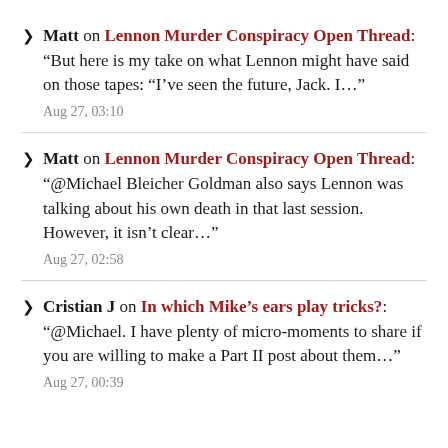Matt on Lennon Murder Conspiracy Open Thread: “But here is my take on what Lennon might have said on those tapes: “I’ve seen the future, Jack. I…”
Aug 27, 03:10
Matt on Lennon Murder Conspiracy Open Thread: “@Michael Bleicher Goldman also says Lennon was talking about his own death in that last session. However, it isn’t clear…”
Aug 27, 02:58
Cristian J on In which Mike’s ears play tricks?: “@Michael. I have plenty of micro-moments to share if you are willing to make a Part II post about them…”
Aug 27, 00:39